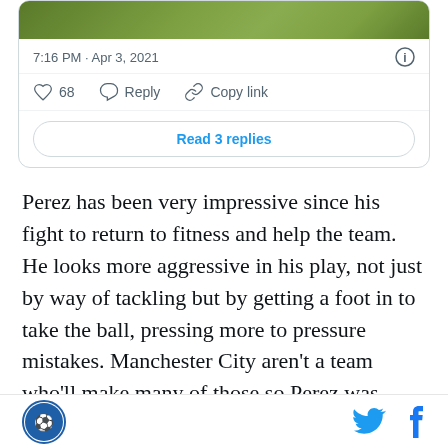[Figure (screenshot): Tweet card showing timestamp 7:16 PM · Apr 3, 2021 with like (68), Reply, Copy link actions and a Read 3 replies button]
Perez has been very impressive since his fight to return to fitness and help the team. He looks more aggressive in his play, not just by way of tackling but by getting a foot in to take the ball, pressing more to pressure mistakes. Manchester City aren't a team who'll make many of those so Perez was forced to come a little deeper and work that little bit harder. Something he does without complaint. It's not
Logo icon | Twitter icon | Facebook icon